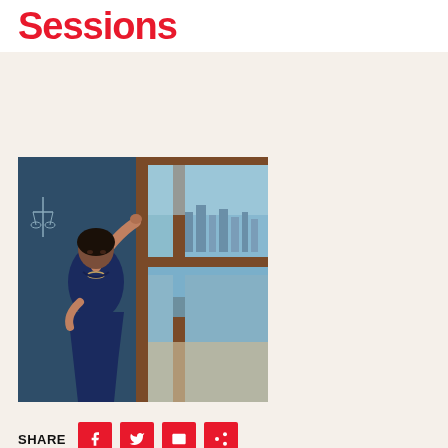Sessions
[Figure (photo): Woman in navy blue dress leaning against a wooden window frame, looking out at a city skyline and waterfront through the open window. A scales-of-justice decoration is visible on the wall behind her.]
SHARE
Freddie Films and Circle Blue Entertainment present The Di...